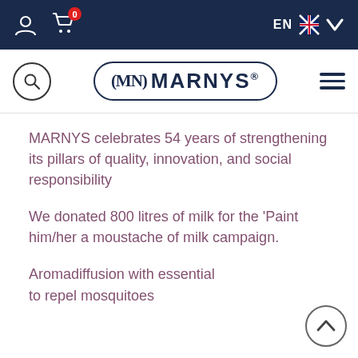EN [navigation bar with user icon, cart (0), language selector]
[Figure (logo): MARNYS logo with MN monogram inside rounded rectangle border, search icon circle on left, hamburger menu on right]
MARNYS celebrates 54 years of strengthening its pillars of quality, innovation, and social responsibility
We donated 800 litres of milk for the 'Paint him/her a moustache of milk campaign.
Aromadiffusion with essential to repel mosquitoes